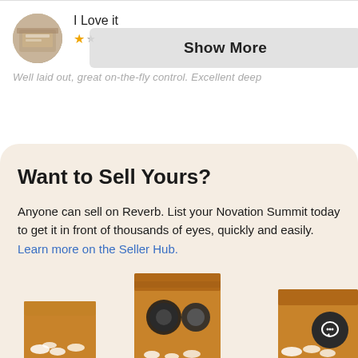I Love it
Show More
Well laid out, great on-the-fly control. Excellent deep...
Want to Sell Yours?
Anyone can sell on Reverb. List your Novation Summit today to get it in front of thousands of eyes, quickly and easily. Learn more on the Seller Hub.
Sell Yours Now
[Figure (photo): Cardboard shipping boxes with packing peanuts and packaged items, partially visible at bottom of page]